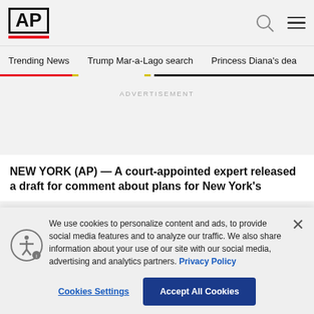[Figure (logo): AP (Associated Press) logo with black bold AP text in a box and a red bar underneath]
Trending News   Trump Mar-a-Lago search   Princess Diana's dea
ADVERTISEMENT
NEW YORK (AP) — A court-appointed expert released a draft for comment about plans for New York's...
We use cookies to personalize content and ads, to provide social media features and to analyze our traffic. We also share information about your use of our site with our social media, advertising and analytics partners. Privacy Policy
Cookies Settings
Accept All Cookies